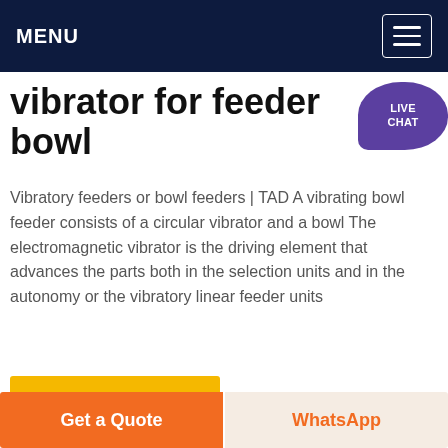MENU
vibrator for feeder bowl
[Figure (illustration): Live Chat speech bubble icon in purple with text LIVE CHAT]
Vibratory feeders or bowl feeders | TAD A vibrating bowl feeder consists of a circular vibrator and a bowl The electromagnetic vibrator is the driving element that advances the parts both in the selection units and in the autonomy or the vibratory linear feeder units
Get price
[Figure (photo): Blue sky image placeholder]
Get a Quote
WhatsApp